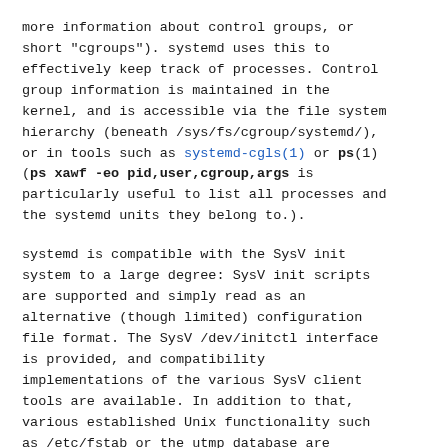more information about control groups, or short "cgroups"). systemd uses this to effectively keep track of processes. Control group information is maintained in the kernel, and is accessible via the file system hierarchy (beneath /sys/fs/cgroup/systemd/), or in tools such as systemd-cgls(1) or ps(1) (ps xawf -eo pid,user,cgroup,args is particularly useful to list all processes and the systemd units they belong to.).
systemd is compatible with the SysV init system to a large degree: SysV init scripts are supported and simply read as an alternative (though limited) configuration file format. The SysV /dev/initctl interface is provided, and compatibility implementations of the various SysV client tools are available. In addition to that, various established Unix functionality such as /etc/fstab or the utmp database are supported.